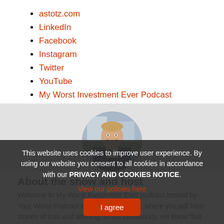astotz.com
LinkedIn
Facebook
Instagram
Twitter
YouTube
My Worst Investment Ever Podcast
[Figure (photo): Circular profile photo of a smiling man in a dark suit with a bow tie, standing outdoors with buildings in background]
About the show and host
Welcome to My Worst Investment Ever podcast hosted by Your Worst Podcast Host, Andrew Stotz, where you will hear stories of loss and winning. In our community, we know that to win in investing you must
This website uses cookies to improve user experience. By using our website you consent to all cookies in accordance with our PRIVACY AND COOKIES NOTICE.
View our policies here
I agree